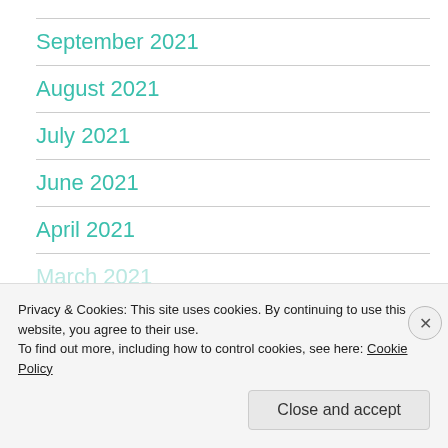September 2021
August 2021
July 2021
June 2021
April 2021
March 2021
Privacy & Cookies: This site uses cookies. By continuing to use this website, you agree to their use.
To find out more, including how to control cookies, see here: Cookie Policy
Close and accept